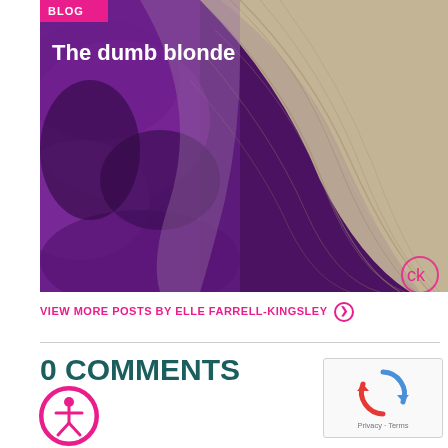[Figure (photo): Blog post image with purple and blonde/tan abstract curves texture, with BLOG tag overlay and title 'The dumb blonde' in white text, and a small logo in bottom right]
VIEW MORE POSTS BY ELLE FARRELL-KINGSLEY ❯
0 COMMENTS
[Figure (other): Accessibility icon - person in circle, pink outlined circle]
[Figure (other): reCAPTCHA widget box with Privacy and Terms text]